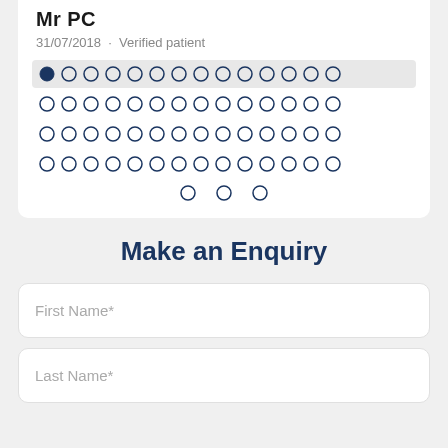Mr PC
31/07/2018 · Verified patient
[Figure (other): Grid of radio button circles (pagination/rating dots), first dot filled dark navy, remaining dots empty circles, arranged in 4 full rows of 14 dots plus one partial row of 3 dots centered]
Make an Enquiry
First Name*
Last Name*